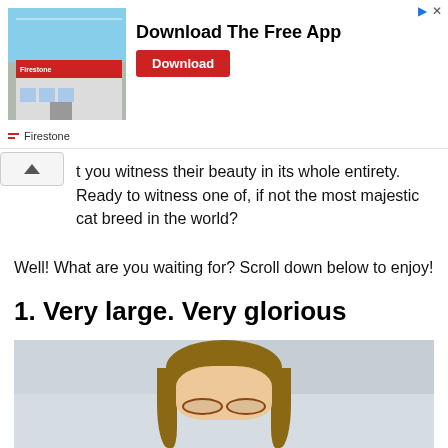[Figure (screenshot): Advertisement banner for Firestone showing a store building photo on the left, 'Download The Free App' text in the center, a red Download button, and Firestone branding at the bottom.]
t you witness their beauty in its whole entirety. Ready to witness one of, if not the most majestic cat breed in the world?
Well! What are you waiting for? Scroll down below to enjoy!
1. Very large. Very glorious
[Figure (photo): Photo of a young woman with long brown hair and round glasses, standing in front of white/grey cabinets, holding or near a dark-colored cat.]